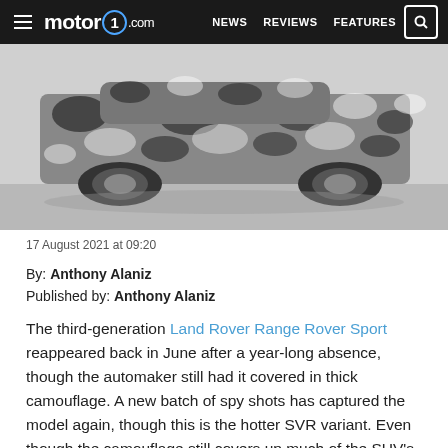motor1.com — NEWS  REVIEWS  FEATURES
[Figure (photo): A camouflaged SUV (Land Rover Range Rover Sport) seen from the rear three-quarter angle on a light grey surface, wrapped in black-and-white patterned camouflage wrap.]
17 August 2021 at 09:20
By: Anthony Alaniz
Published by: Anthony Alaniz
The third-generation Land Rover Range Rover Sport reappeared back in June after a year-long absence, though the automaker still had it covered in thick camouflage. A new batch of spy shots has captured the model again, though this is the hotter SVR variant. Even though the camouflage still covers up much of the SUV's evolutionary design update, it's impossible to miss the bigger brakes and quad-exhaust outlets